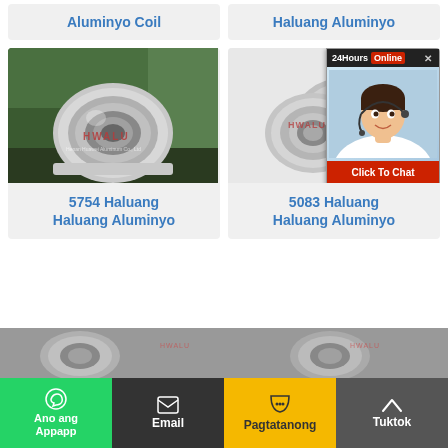[Figure (photo): Two product cards at top: left shows Aluminyo Coil (truncated), right shows Haluang Aluminyo (truncated) — gray background cards with blue text labels]
[Figure (photo): Large aluminum coil roll photo in industrial green background setting with HWALU watermark]
5754 Haluang Haluang Aluminyo
[Figure (photo): Two aluminum coil rolls on white background with HWALU watermark, partially obscured by a 24Hours Online chat popup with female customer service agent and Click To Chat button]
5083 Haluang Haluang Aluminyo
[Figure (photo): Partial aluminum product image strip at bottom of page]
Ano ang Appapp
Email
Pagtatanong
Tuktok